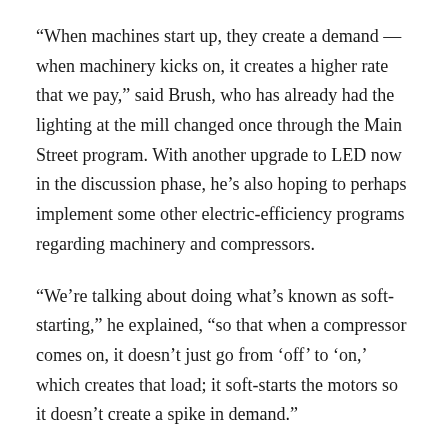“When machines start up, they create a demand — when machinery kicks on, it creates a higher rate that we pay,” said Brush, who has already had the lighting at the mill changed once through the Main Street program. With another upgrade to LED now in the discussion phase, he’s also hoping to perhaps implement some other electric-efficiency programs regarding machinery and compressors.
“We’re talking about doing what’s known as soft-starting,” he explained, “so that when a compressor comes on, it doesn’t just go from ‘off’ to ‘on,’ which creates that load; it soft-starts the motors so it doesn’t create a spike in demand.”
As noted, Brush is not your typical small business